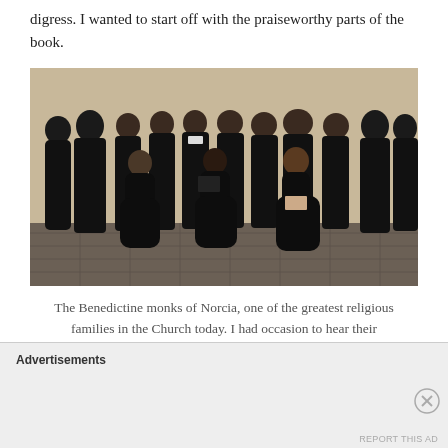digress. I wanted to start off with the praiseworthy parts of the book.
[Figure (photo): Group photo of Benedictine monks of Norcia dressed in black habits, standing and seated, posed against a light beige wall on a stone floor.]
The Benedictine monks of Norcia, one of the greatest religious families in the Church today. I had occasion to hear their
Advertisements